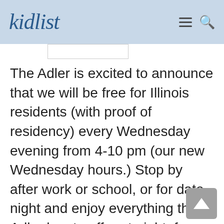kidlist
The Adler is excited to announce that we will be free for Illinois residents (with proof of residency) every Wednesday evening from 4-10 pm (our new Wednesday hours.) Stop by after work or school, or for date night and enjoy everything the Adler has to offer at night, for free as part of our Illinois Resident Discount Days program. Reserve your free Museum Entry tickets and add on any sky shows for the full experience! All tickets must be purchased…
Find out more »